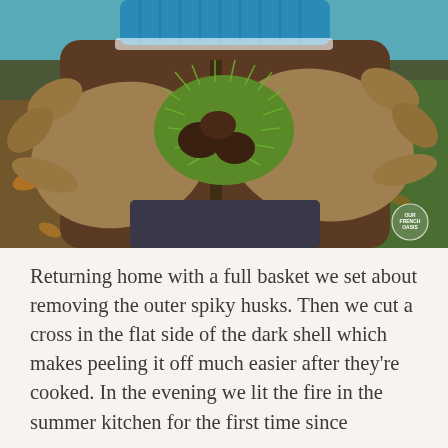[Figure (photo): Person wearing large suede work gloves holding spiky green chestnut husks with chestnuts visible. Person is wearing a blue knit hat and brown jacket, with autumn leaves on the ground in the background. A small circular watermark reading 'Our French Oasis' is in the bottom right corner of the photo.]
Returning home with a full basket we set about removing the outer spiky husks. Then we cut a cross in the flat side of the dark shell which makes peeling it off much easier after they're cooked. In the evening we lit the fire in the summer kitchen for the first time since